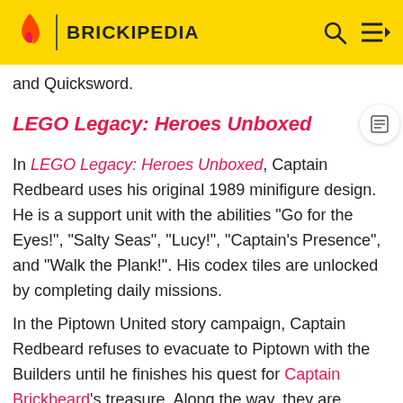BRICKIPEDIA
and Quicksword.
LEGO Legacy: Heroes Unboxed
In LEGO Legacy: Heroes Unboxed, Captain Redbeard uses his original 1989 minifigure design. He is a support unit with the abilities "Go for the Eyes!", "Salty Seas", "Lucy!", "Captain's Presence", and "Walk the Plank!". His codex tiles are unlocked by completing daily missions.
In the Piptown United story campaign, Captain Redbeard refuses to evacuate to Piptown with the Builders until he finishes his quest for Captain Brickbeard's treasure. Along the way, they are pursued by Admiral Nonsuch and his Imperial Soldiers, and then discover that Brickbeard's cursed treasure is guarded by skeletons. Once they